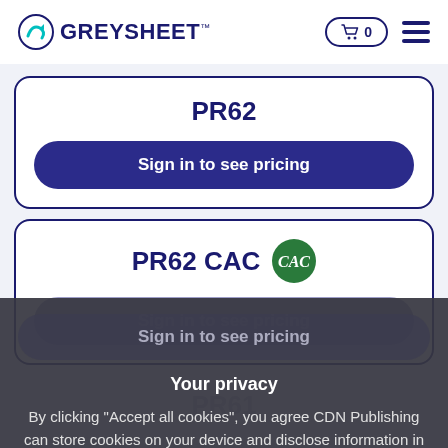GREYSHEET
PR62
Sign in to see pricing
PR62 CAC
Sign in to see pricing
Your privacy
By clicking "Accept all cookies", you agree CDN Publishing can store cookies on your device and disclose information in accordance with our Cookie Policy.
Accept all cookies